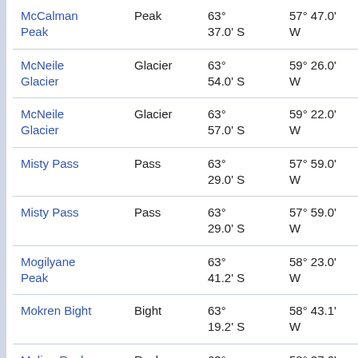| Name | Type | Latitude | Longitude | Other |
| --- | --- | --- | --- | --- |
| McCalman Peak | Peak | 63° 37.0' S | 57° 47.0' W | 39.3 at 68 |
| McNeile Glacier | Glacier | 63° 54.0' S | 59° 26.0' W | 47.8 at 24 |
| McNeile Glacier | Glacier | 63° 57.0' S | 59° 22.0' W | 47.0 at 24 |
| Misty Pass | Pass | 63° 29.0' S | 57° 59.0' W | 39.9 at 42 |
| Misty Pass | Pass | 63° 29.0' S | 57° 59.0' W | 39.9 at 42 |
| Mogilyane Peak |  | 63° 41.2' S | 58° 23.0' W | 9.8 k 43° |
| Mokren Bight | Bight | 63° 19.2' S | 58° 43.1' W | 49.0 at 34 |
| Molina Rocks | Rock | 63° 22.0' S | 58° 27.0' W | 43.0 at 5° |